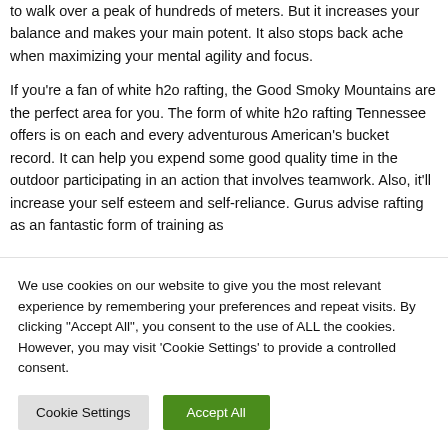to walk over a peak of hundreds of meters. But it increases your balance and makes your main potent. It also stops back ache when maximizing your mental agility and focus.
If you're a fan of white h2o rafting, the Good Smoky Mountains are the perfect area for you. The form of white h2o rafting Tennessee offers is on each and every adventurous American's bucket record. It can help you expend some good quality time in the outdoor participating in an action that involves teamwork. Also, it'll increase your self esteem and self-reliance. Gurus advise rafting as an fantastic form of training as
We use cookies on our website to give you the most relevant experience by remembering your preferences and repeat visits. By clicking "Accept All", you consent to the use of ALL the cookies. However, you may visit 'Cookie Settings' to provide a controlled consent.